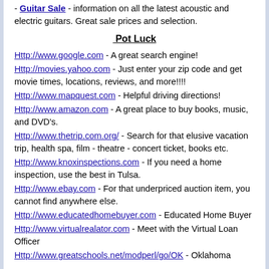- Guitar Sale - information on all the latest acoustic and electric guitars. Great sale prices and selection.
Pot Luck
Http://www.google.com - A great search engine!
Http://movies.yahoo.com - Just enter your zip code and get movie times, locations, reviews, and more!!!!
Http://www.mapquest.com - Helpful driving directions!
Http://www.amazon.com - A great place to buy books, music, and DVD's.
Http://www.thetrip.com.org/ - Search for that elusive vacation trip, health spa, film - theatre - concert ticket, books etc.
Http://www.knoxinspections.com - If you need a home inspection, use the best in Tulsa.
Http://www.ebay.com - For that underpriced auction item, you cannot find anywhere else.
Http://www.educatedhomebuyer.com - Educated Home Buyer
Http://www.virtualrealator.com - Meet with the Virtual Loan Officer
Http://www.greatschools.net/modperl/go/OK - Oklahoma